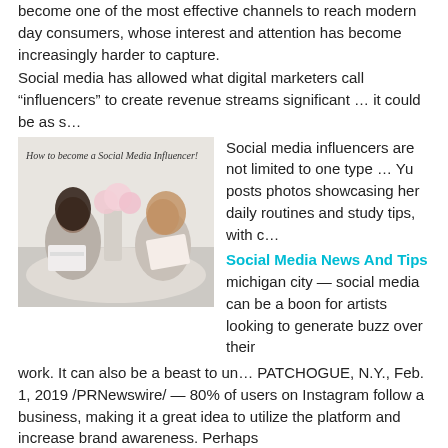become one of the most effective channels to reach modern day consumers, whose interest and attention has become increasingly harder to capture.
Social media has allowed what digital marketers call “influencers” to create revenue streams significant … it could be as s…
[Figure (photo): Photo of two women holding boxes sitting at a table with flowers, overlaid with italic text: How to become a Social Media Influencer!]
Social media influencers are not limited to one type … Yu posts photos showcasing her daily routines and study tips, with c…
Social Media News And Tips michigan city — social media can be a boon for artists looking to generate buzz over their work. It can also be a beast to un… PATCHOGUE, N.Y., Feb. 1, 2019 /PRNewswire/ — 80% of users on Instagram follow a business, making it a great idea to utilize the platform and increase brand awareness. Perhaps
The more that marketing becomes personal—with social media and hyper-targeted ads—the more influencer relationships will be important for brands. Of course, with every benefit there comes some risk. A…
Whether you’re a fashionista, life coach, marketing consultant,